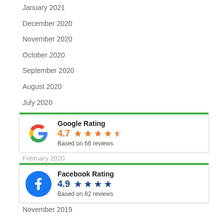January 2021
December 2020
November 2020
October 2020
September 2020
August 2020
July 2020
[Figure (infographic): Google Rating widget: Google logo, score 4.7, 4.5 orange stars, Based on 66 reviews]
February 2020
[Figure (infographic): Facebook Rating widget: Facebook logo, score 4.9, 4 blue stars, Based on 82 reviews]
November 2019